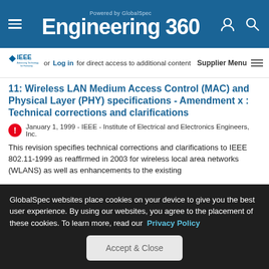Powered by GlobalSpec Engineering 360
or Log in for direct access to additional content  Supplier Menu
11: Wireless LAN Medium Access Control (MAC) and Physical Layer (PHY) specifications - Amendment x : Technical corrections and clarifications
January 1, 1999 - IEEE - Institute of Electrical and Electronics Engineers, Inc.
This revision specifies technical corrections and clarifications to IEEE 802.11-1999 as reaffirmed in 2003 for wireless local area networks (WLANS) as well as enhancements to the existing
GlobalSpec websites place cookies on your device to give you the best user experience. By using our websites, you agree to the placement of these cookies. To learn more, read our Privacy Policy
Accept & Close